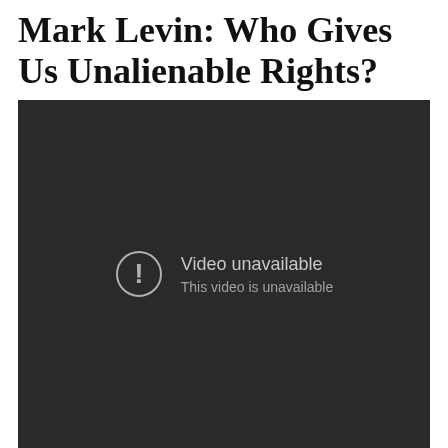Mark Levin: Who Gives Us Unalienable Rights?
[Figure (screenshot): Embedded video player showing 'Video unavailable - This video is unavailable' error message on a dark background.]